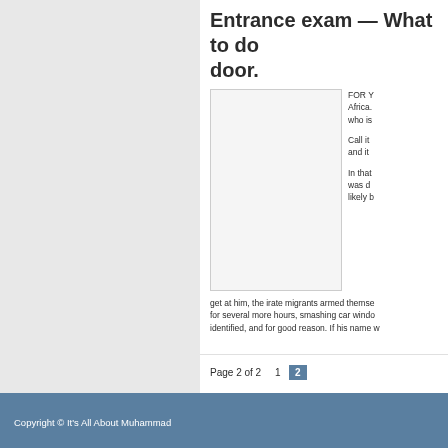Entrance exam — What to do when a mob comes to your door.
[Figure (photo): A photograph or image placeholder in the article]
FOR Y Africa. who is
Call it and it
In that was d likely b
get at him, the irate migrants armed themse for several more hours, smashing car windo identified, and for good reason. If his name w
Page 2 of 2    1    2
Copyright © It's All About Muhammad